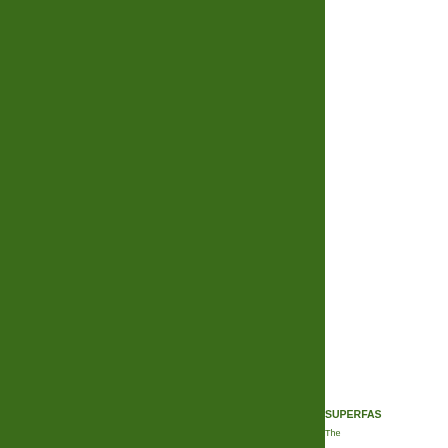[Figure (illustration): Large dark green rectangular block occupying the left approximately two-thirds of the page, full height.]
SUPERFAS
The